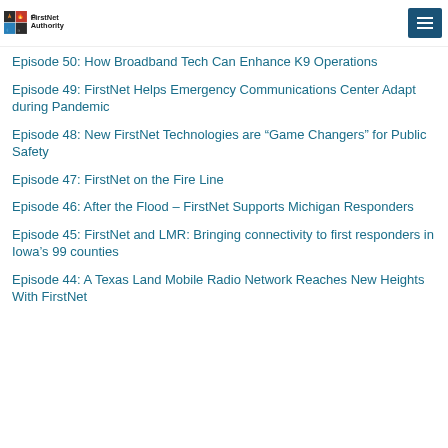FirstNet Authority
Episode 50: How Broadband Tech Can Enhance K9 Operations
Episode 49: FirstNet Helps Emergency Communications Center Adapt during Pandemic
Episode 48: New FirstNet Technologies are “Game Changers” for Public Safety
Episode 47: FirstNet on the Fire Line
Episode 46: After the Flood – FirstNet Supports Michigan Responders
Episode 45: FirstNet and LMR: Bringing connectivity to first responders in Iowa’s 99 counties
Episode 44: A Texas Land Mobile Radio Network Reaches New Heights With FirstNet